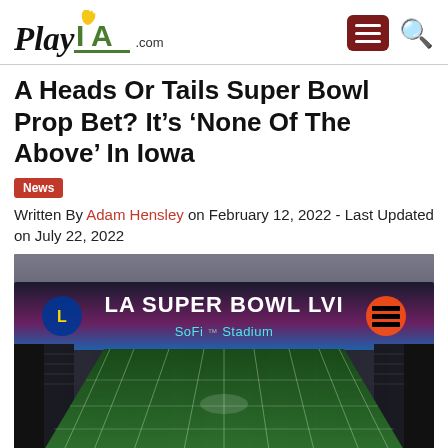PlayIA.com
A Heads Or Tails Super Bowl Prop Bet? It's 'None Of The Above' In Iowa
News
Written By Adam Hensley on February 12, 2022 - Last Updated on July 22, 2022
[Figure (photo): Interior view of SoFi Stadium with Super Bowl LVI scoreboard showing LA Rams and Cincinnati Bengals logos, with a wide aerial view of the football field below.]